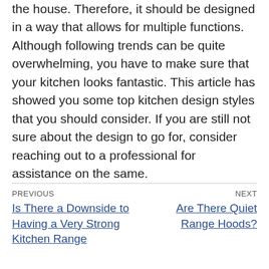the house. Therefore, it should be designed in a way that allows for multiple functions. Although following trends can be quite overwhelming, you have to make sure that your kitchen looks fantastic. This article has showed you some top kitchen design styles that you should consider. If you are still not sure about the design to go for, consider reaching out to a professional for assistance on the same.
PREVIOUS
Is There a Downside to Having a Very Strong Kitchen Range
NEXT
Are There Quiet Range Hoods?